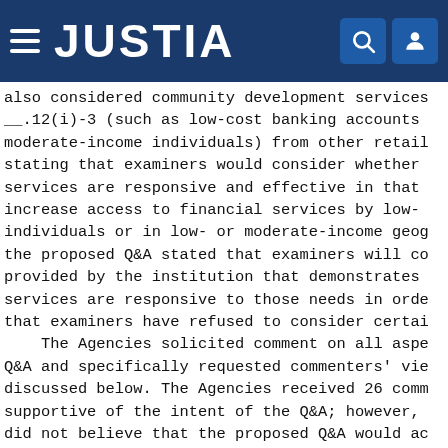JUSTIA
also considered community development services __.12(i)-3 (such as low-cost banking accounts moderate-income individuals) from other retail stating that examiners would consider whether services are responsive and effective in that increase access to financial services by low- individuals or in low- or moderate-income geog the proposed Q&A stated that examiners will co provided by the institution that demonstrates services are responsive to those needs in orde that examiners have refused to consider certai
    The Agencies solicited comment on all aspe Q&A and specifically requested commenters' vie discussed below. The Agencies received 26 comm supportive of the intent of the Q&A; however, did not believe that the proposed Q&A would ac A number of commentors asserted that the prop